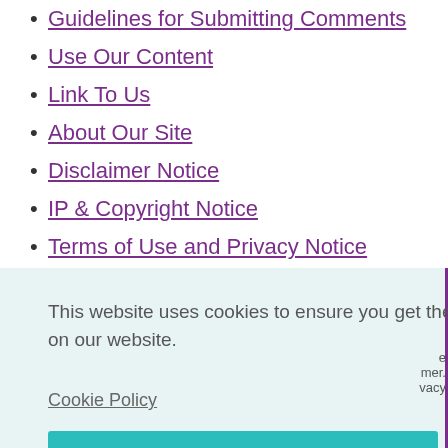Guidelines for Submitting Comments
Use Our Content
Link To Us
About Our Site
Disclaimer Notice
IP & Copyright Notice
Terms of Use and Privacy Notice
This website uses cookies to ensure you get the best experience on our website.
Cookie Policy
Got it!